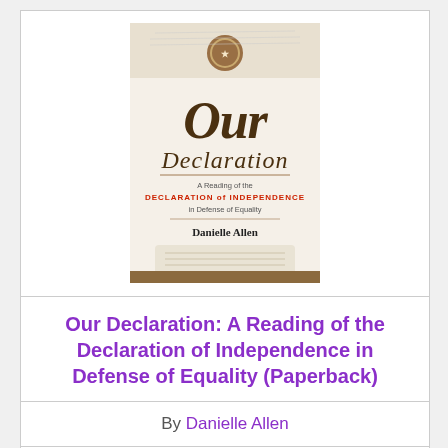[Figure (illustration): Book cover of 'Our Declaration: A Reading of the Declaration of Independence in Defense of Equality' by Danielle Allen. Features Gothic-style lettering for 'Our Declaration' with subtitle text and author name below.]
Our Declaration: A Reading of the Declaration of Independence in Defense of Equality (Paperback)
By Danielle Allen
$16.95
Add to Cart   Add to Wish List
NOT ON OUR SHELVES- available for order, usually ships in 1-5 days